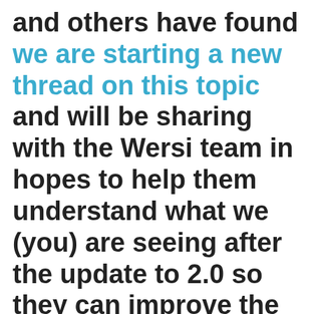and others have found we are starting a new thread on this topic and will be sharing with the Wersi team in hopes to help them understand what we (you) are seeing after the update to 2.0 so they can improve the product for all of us.